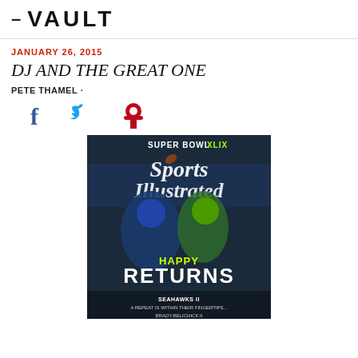– VAULT
JANUARY 26, 2015
DJ AND THE GREAT ONE
PETE THAMEL ·
[Figure (illustration): Social media share icons: Facebook (f), Twitter (bird), Pinterest (P)]
[Figure (photo): Sports Illustrated magazine cover featuring SUPER BOWL XLIX, showing a Seattle Seahawks player and a Green Bay Packers player both reaching for a football. Headline reads HAPPY RETURNS. Subtext: SEAHAWKS II A REPEAT IS WITHIN THEIR FINGERTIPS... BRADY-BELICHICK II]